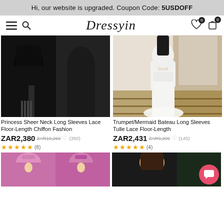Hi, our website is upgraded. Coupon Code: 5USDOFF
[Figure (screenshot): Dressyin e-commerce website navbar with hamburger menu, search icon, Dressyin logo, heart icon with 0 badge, and cart icon with 0 badge]
[Figure (photo): Black Princess Sheer Neck Long Sleeves Lace Floor-Length Chiffon Fashion dress worn by two models]
Princess Sheer Neck Long Sleeves Lace Floor-Length Chiffon Fashion
ZAR2,380 ZAR10,260 ♡ (350)
★★★★★ (8)
[Figure (photo): White Trumpet/Mermaid Bateau Long Sleeves Tulle Lace Floor-Length dress worn by a model]
Trumpet/Mermaid Bateau Long Sleeves Tulle Lace Floor-Length
ZAR2,431 ZAR9,299 ♡ (145)
★★★★★ (4)
[Figure (photo): Pink sequin high neck dress shown on models (partially visible at bottom)]
[Figure (photo): Brown-haired model in black lace dress (partially visible at bottom)]